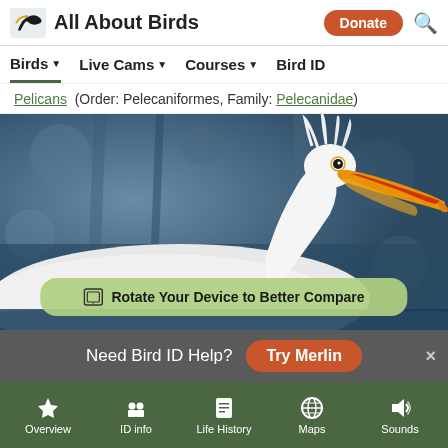All About Birds — Donate | Search
Birds ▾   Live Cams ▾   Courses ▾   Bird ID
Pelicans (Order: Pelecaniformes, Family: Pelecanidae)
[Figure (photo): Close-up photo of a white American Pelican with yellow-orange beak and white feathered crest, against a blurred blue-gray background]
🖵 Rotate Your Device to Better Compare
Need Bird ID Help? Try Merlin
Overview | ID info | Life History | Maps | Sounds